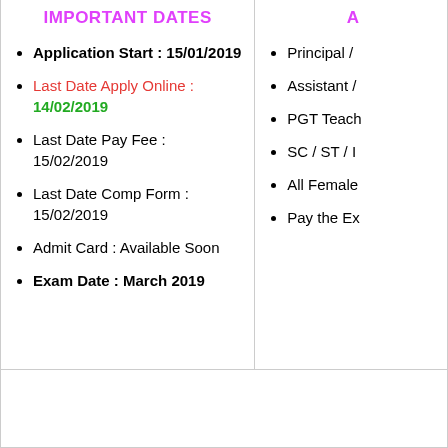IMPORTANT DATES
Application Start : 15/01/2019
Last Date Apply Online : 14/02/2019
Last Date Pay Fee : 15/02/2019
Last Date Comp Form : 15/02/2019
Admit Card : Available Soon
Exam Date : March 2019
A
Principal /
Assistant /
PGT Teach
SC / ST / I
All Female
Pay the Ex